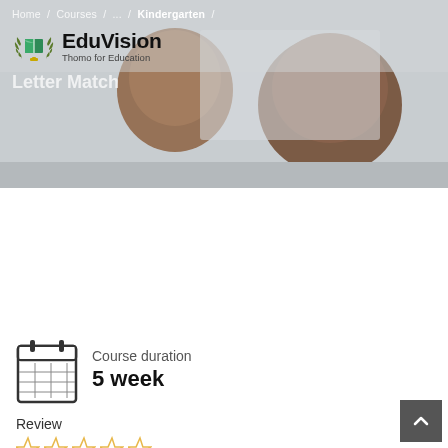[Figure (photo): Hero banner showing two children from behind looking at a whiteboard in a classroom, blurred background]
Home / Courses / ... / Kindergarten /
[Figure (logo): EduVision logo with green book and laurel wreath icon, text 'EduVision' and tagline 'Thomo for Education']
Letter Match
Course duration
5 week
Review
[Figure (other): Five empty star rating icons in gold/yellow outline]